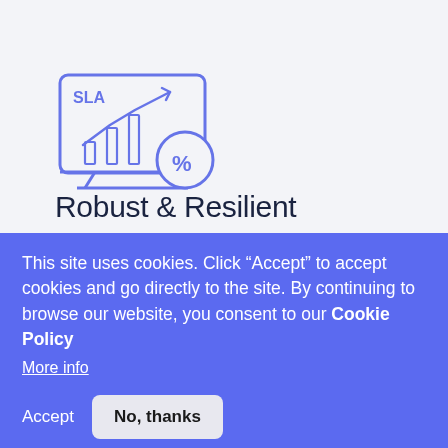[Figure (illustration): SLA uptime icon: a monitor/screen outline containing a bar chart with an upward trending line and the text 'SLA', plus an overlapping circle with a percent sign, all in blue/indigo line art style]
Robust & Resilient
Multiple redundant systems, to maintain network uptime in the harshest of environments
This site uses cookies. Click “Accept” to accept cookies and go directly to the site. By continuing to browse our website, you consent to our Cookie Policy
More info
Accept
No, thanks